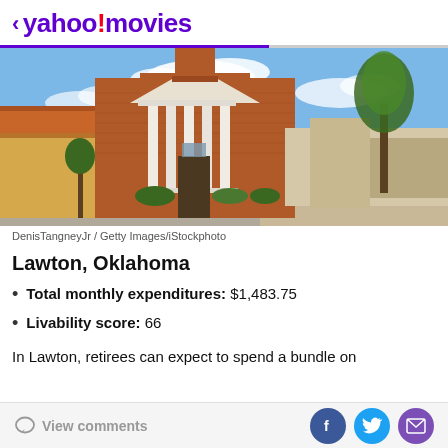< yahoo!movies
[Figure (photo): Exterior photo of a brick building with white columns and a triangular pediment, resembling a civic or church building in Lawton, Oklahoma, with trees and street visible, blue sky with clouds.]
DenisTangneyJr / Getty Images/iStockphoto
Lawton, Oklahoma
Total monthly expenditures: $1,483.75
Livability score: 66
In Lawton, retirees can expect to spend a bundle on
View comments